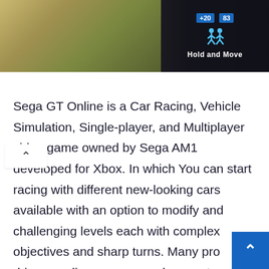[Figure (screenshot): Screenshot of a game HUD overlay on a dark/outdoor background image. Top right shows blue number badges '+20' and '83', a figure icon, and text 'Hold and Move' on dark background.]
Sega GT Online is a Car Racing, Vehicle Simulation, Single-player, and Multiplayer video game owned by Sega AM1 developed for Xbox. In which You can start racing with different new-looking cars available with an option to modify and challenging levels each with complex objectives and sharp turns. Many pro drivers, online gamers, and computer-operated opponents will give you the toughest ever competition while taking a challenge in the classic mode as well as PVP mode.

Pick a new car, customize it by spending some money,